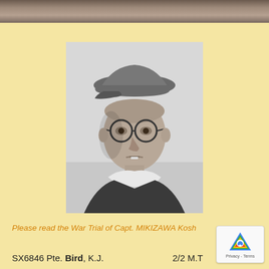[Figure (photo): Partial photo at top of page, showing landscape or outdoor scene in black and white]
[Figure (photo): Black and white portrait photograph of a man wearing military cap with round glasses, looking forward, wearing dark military-style jacket with collar]
Please read the War Trial of Capt. MIKIZAWA Kosh
SX6846 Pte. Bird, K.J.    2/2 M.T